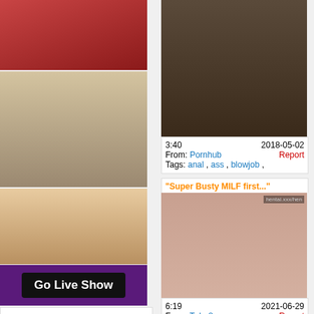[Figure (photo): Left column: top thumbnail photo]
[Figure (photo): Left column: middle thumbnail photo]
[Figure (photo): Left column: bottom thumbnail photo with Go Live Show button]
Go Live Show
CAM TAGS
abused  amateur  anal  anilingus  arab  asian  ass  babysitter
[Figure (photo): Right column: first video thumbnail]
3:40  2018-05-02  From: Pornhub  Report  Tags: anal, ass, blowjob,
"Super Busty MILF first..."
[Figure (illustration): Right column: hentai anime illustration]
6:19  2021-06-29  From: Tube8  Report  Tags: anal, ass, bigdick,
lover
[Figure (illustration): Right column: third video thumbnail illustration]